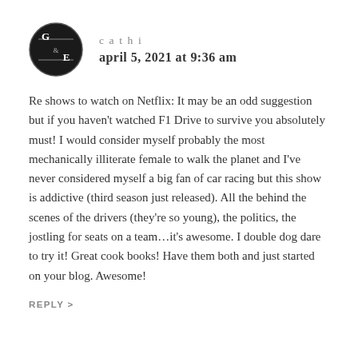[Figure (logo): Circular black avatar badge with white serif letters G, ampersand, E and decorative lines]
cathi
april 5, 2021 at 9:36 am
Re shows to watch on Netflix: It may be an odd suggestion but if you haven’t watched F1 Drive to survive you absolutely must! I would consider myself probably the most mechanically illiterate female to walk the planet and I’ve never considered myself a big fan of car racing but this show is addictive (third season just released). All the behind the scenes of the drivers (they’re so young), the politics, the jostling for seats on a team…it’s awesome. I double dog dare to try it! Great cook books! Have them both and just started on your blog. Awesome!
REPLY >